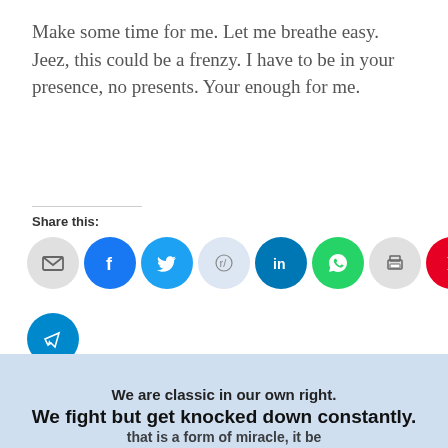Make some time for me. Let me breathe easy. Jeez, this could be a frenzy. I have to be in your presence, no presents. Your enough for me.
Share this:
[Figure (other): Row of social media share icon buttons: email (gray), Facebook (blue), Twitter (light blue), Reddit (light blue/gray), LinkedIn (dark blue), WhatsApp (green), Print (gray), Pinterest (red), Skype (blue), Tumblr (dark navy), Pocket (red), and Telegram (blue)]
Like this:
[Figure (other): Like button widget with star icon and 'Like' text, bordered box]
Be the first to like this.
We are classic in our own right. We fight but get knocked down constantly.